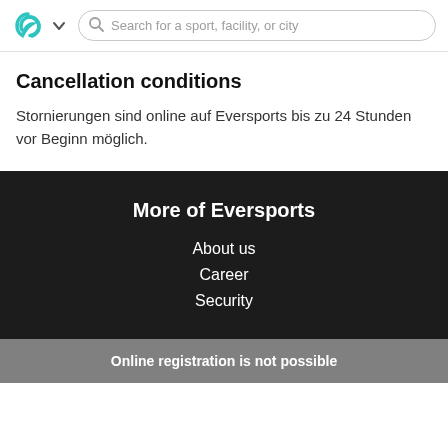Search for a sport, facility, or city
Cancellation conditions
Stornierungen sind online auf Eversports bis zu 24 Stunden vor Beginn möglich.
More of Eversports
About us
Career
Security
Online registration is not possible